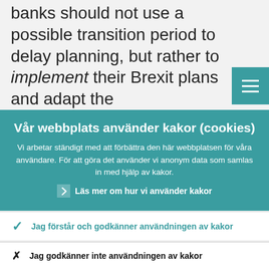banks should not use a possible transition period to delay planning, but rather to implement their Brexit plans and adapt the
Vår webbplats använder kakor (cookies)
Vi arbetar ständigt med att förbättra den här webbplatsen för våra användare. För att göra det använder vi anonym data som samlas in med hjälp av kakor.
Läs mer om hur vi använder kakor
Jag förstår och godkänner användningen av kakor
Jag godkänner inte användningen av kakor